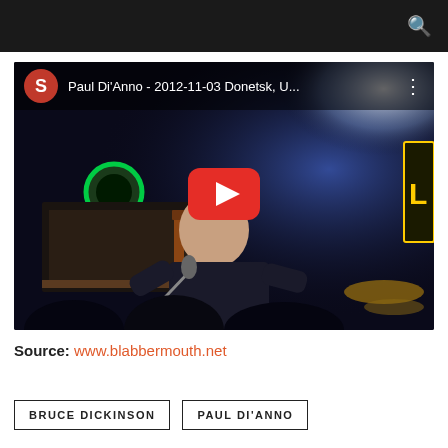[Figure (screenshot): YouTube video thumbnail showing Paul Di'Anno performing live on stage, with title 'Paul Di'Anno - 2012-11-03 Donetsk, U...' and a red play button overlay. A channel avatar with letter S is shown top-left.]
Source: www.blabbermouth.net
BRUCE DICKINSON
PAUL DI'ANNO